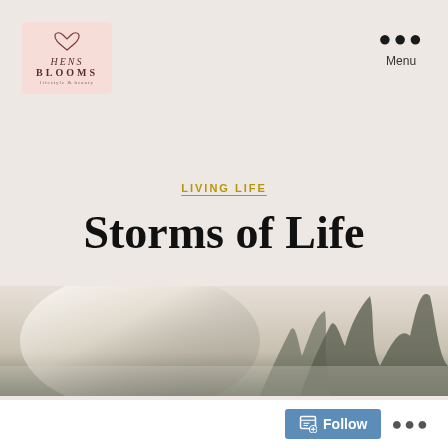[Figure (logo): HensBlooms blog logo in a pink square with cursive heart and text HENS BLOOMS]
Menu
LIVING LIFE
Storms of Life
By HensBlooms   October 30, 2021
28 Comments
[Figure (photo): Outdoor nature photo showing trees and bright sky, used as article header image]
Follow